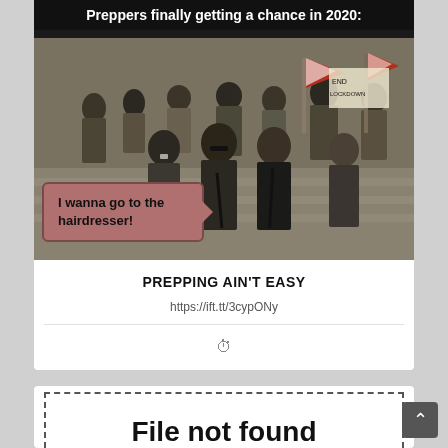[Figure (photo): Meme image showing armed protesters at a rally in 2020 with text overlay 'Preppers finally getting a chance in 2020:' and a speech bubble saying 'I wanna go to the hairdresser!']
PREPPING AIN'T EASY
https://ift.tt/3cypONy
[Figure (screenshot): Partial view of a 'File not found' error message with dashed border box]